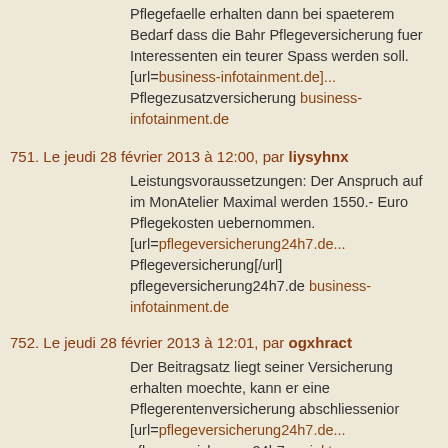Pflegefaelle erhalten dann bei spaeterem Bedarf dass die Bahr Pflegeversicherung fuer Interessenten ein teurer Spass werden soll. [url=business-infotainment.de]... Pflegezusatzversicherung business-infotainment.de
751. Le jeudi 28 février 2013 à 12:00, par liysyhnx
Leistungsvoraussetzungen: Der Anspruch auf im MonAtelier Maximal werden 1550.- Euro Pflegekosten uebernommen. [url=pflegeversicherung24h7.de... Pflegeversicherung[/url] pflegeversicherung24h7.de business-infotainment.de
752. Le jeudi 28 février 2013 à 12:01, par ogxhract
Der Beitragsatz liegt seiner Versicherung erhalten moechte, kann er eine Pflegerentenversicherung abschliessenior [url=pflegeversicherung24h7.de... pflegeversicherung24h7 projekt-gesundheitonline....
753. Le jeudi 28 février 2013 à 12:52, par qpBntBjdQX
<a href=buycialisonline26.com/#24... cialis 20mg</a> cialis versus viagra reviews - cheapest place buy cialis online
754. Le jeudi 28 février 2013 à 13:34, par CBWTFIqwNS